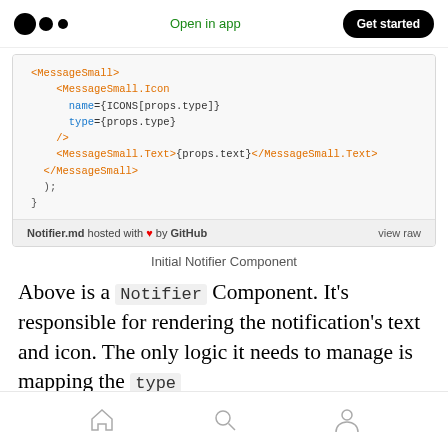Medium logo | Open in app | Get started
[Figure (screenshot): Code block showing JSX for MessageSmall component with MessageSmall.Icon and MessageSmall.Text elements]
Initial Notifier Component
Above is a Notifier Component. It’s responsible for rendering the notification’s text and icon. The only logic it needs to manage is mapping the type
Home | Search | Profile navigation icons